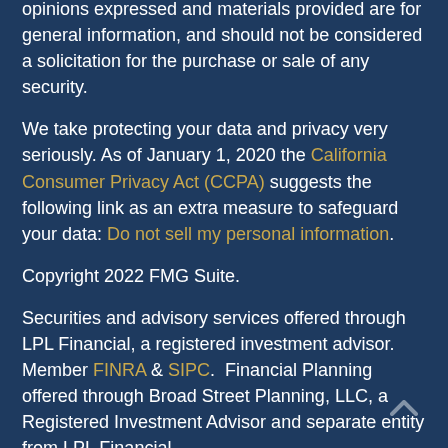opinions expressed and materials provided are for general information, and should not be considered a solicitation for the purchase or sale of any security.
We take protecting your data and privacy very seriously. As of January 1, 2020 the California Consumer Privacy Act (CCPA) suggests the following link as an extra measure to safeguard your data: Do not sell my personal information.
Copyright 2022 FMG Suite.
Securities and advisory services offered through LPL Financial, a registered investment advisor. Member FINRA & SIPC.  Financial Planning offered through Broad Street Planning, LLC, a Registered Investment Advisor and separate entity from LPL Financial.
Registered to conduct securities business in these States:   Alabama (AL), Arkansas (AR), Arizona (AZ),